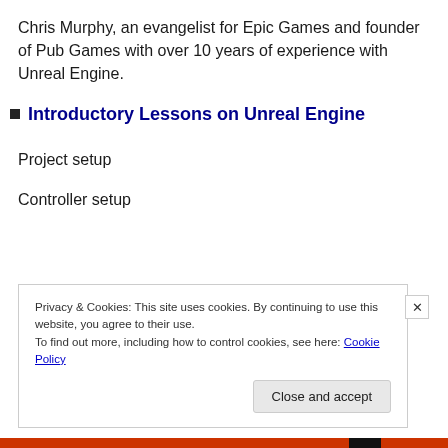Chris Murphy, an evangelist for Epic Games and founder of Pub Games with over 10 years of experience with Unreal Engine.
Introductory Lessons on Unreal Engine
Project setup
Controller setup
Privacy & Cookies: This site uses cookies. By continuing to use this website, you agree to their use.
To find out more, including how to control cookies, see here: Cookie Policy
Close and accept